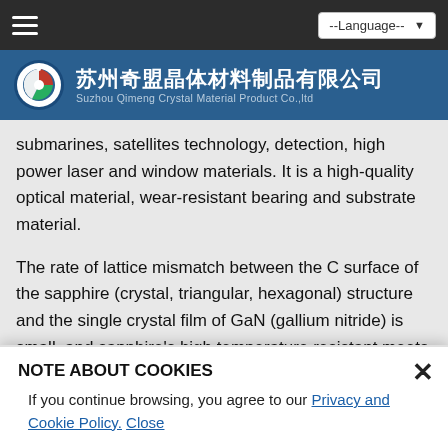苏州奇盟晶体材料制品有限公司 / Suzhou Qimeng Crystal Material Product Co.,ltd
submarines, satellites technology, detection, high power laser and window materials. It is a high-quality optical material, wear-resistant bearing and substrate material.
The rate of lattice mismatch between the C surface of the sapphire (crystal, triangular, hexagonal) structure and the single crystal film of GaN (gallium nitride) is small, and sapphire's high temperature resistant meets the requirement of the growth of the GaN single crystal film, therefore it is a key substrate material for LED...
Because of sapphire's good light transmission and high hardness, it is commonly used in the glass window, space shuttle, unmanned aircraft, watch dial, etc. With the price decline, sapphire is expected to develop more extensive applications...
NOTE ABOUT COOKIES
If you continue browsing, you agree to our Privacy and Cookie Policy. Close